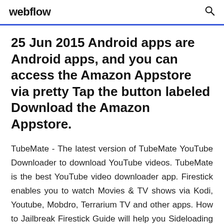webflow
25 Jun 2015 Android apps are Android apps, and you can access the Amazon Appstore via pretty Tap the button labeled Download the Amazon Appstore.
TubeMate - The latest version of TubeMate YouTube Downloader to download YouTube videos. TubeMate is the best YouTube video downloader app. Firestick enables you to watch Movies & TV shows via Kodi, Youtube, Mobdro, Terrarium TV and other apps. How to Jailbreak Firestick Guide will help you Sideloading sucksat least it used to. Now there's a better